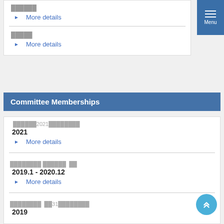██████
▶  More details
█████
▶  More details
Committee Memberships
██████2021████████
2021
▶  More details
████████ ██████  ██
2019.1  -  2020.12
▶  More details
████████  ██31████████
2019